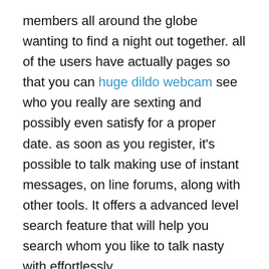members all around the globe wanting to find a night out together. all of the users have actually pages so that you can huge dildo webcam see who you really are sexting and possibly even satisfy for a proper date. as soon as you register, it's possible to talk making use of instant messages, on line forums, along with other tools. It offers a advanced level search feature that will help you search whom you like to talk nasty with effortlessly.
SnapSext.com the most popular and